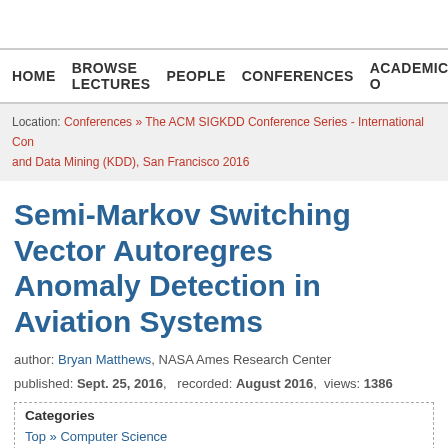HOME  BROWSE LECTURES  PEOPLE  CONFERENCES  ACADEMIC O
Location: Conferences » The ACM SIGKDD Conference Series - International Con and Data Mining (KDD), San Francisco 2016
Semi-Markov Switching Vector Autoregres Anomaly Detection in Aviation Systems
author: Bryan Matthews, NASA Ames Research Center published: Sept. 25, 2016, recorded: August 2016, views: 1386
Categories
Top » Computer Science
Top » Data Science
Switch off the lights
Lecture popularity: You need to login to cast your vote.